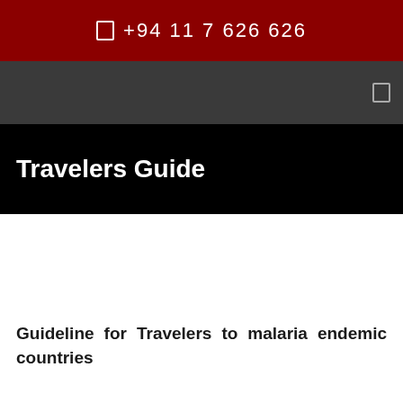+94 11 7 626 626
Travelers Guide
Guideline for Travelers to malaria endemic countries